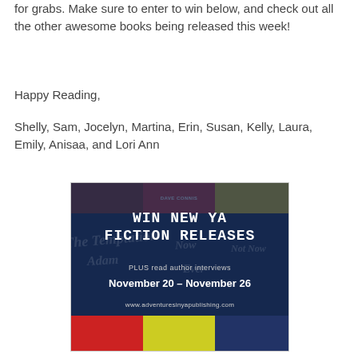for grabs. Make sure to enter to win below, and check out all the other awesome books being released this week!
Happy Reading,
Shelly, Sam, Jocelyn, Martina, Erin, Susan, Kelly, Laura, Emily, Anisaa, and Lori Ann
[Figure (illustration): Promotional image for Adventures in YA Publishing giveaway. Dark blue background with collaged book covers. Text reads: WIN NEW YA FICTION RELEASES, PLUS read author interviews, November 20 – November 26, www.adventuresinyapublishing.com. DAVE CONNIS credited at top.]